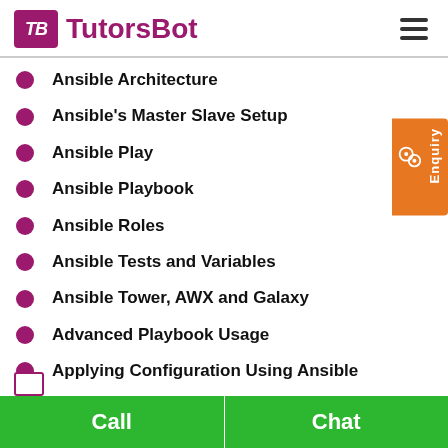TutorsBot
Ansible Architecture
Ansible's Master Slave Setup
Ansible Play
Ansible Playbook
Ansible Roles
Ansible Tests and Variables
Ansible Tower, AWX and Galaxy
Advanced Playbook Usage
Applying Configuration Using Ansible
Call  Chat